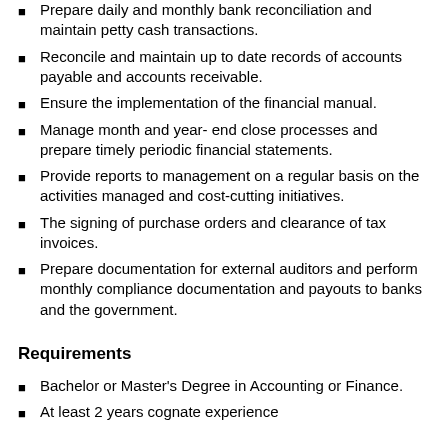Prepare daily and monthly bank reconciliation and maintain petty cash transactions.
Reconcile and maintain up to date records of accounts payable and accounts receivable.
Ensure the implementation of the financial manual.
Manage month and year- end close processes and prepare timely periodic financial statements.
Provide reports to management on a regular basis on the activities managed and cost-cutting initiatives.
The signing of purchase orders and clearance of tax invoices.
Prepare documentation for external auditors and perform monthly compliance documentation and payouts to banks and the government.
Requirements
Bachelor or Master's Degree in Accounting or Finance.
At least 2 years cognate experience